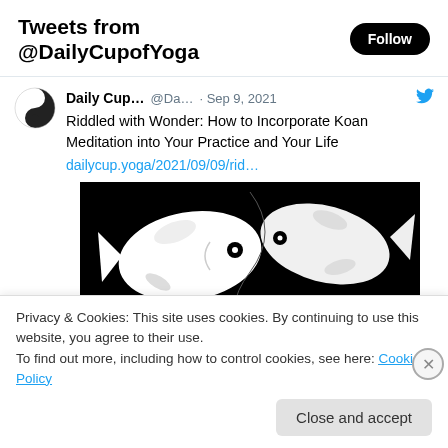Tweets from @DailyCupofYoga
Daily Cup... @Da... · Sep 9, 2021
Riddled with Wonder: How to Incorporate Koan Meditation into Your Practice and Your Life
dailycup.yoga/2021/09/09/rid...
[Figure (illustration): Black and white yin-yang style illustration of two koi fish swirling together]
Privacy & Cookies: This site uses cookies. By continuing to use this website, you agree to their use.
To find out more, including how to control cookies, see here: Cookie Policy
Close and accept